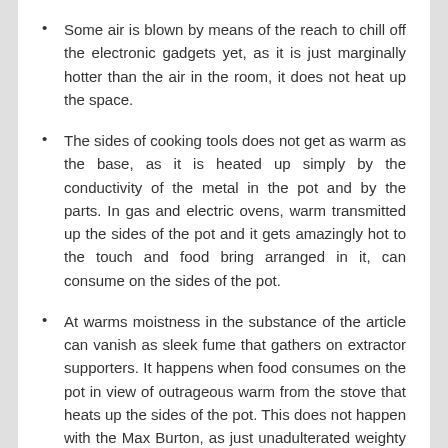Some air is blown by means of the reach to chill off the electronic gadgets yet, as it is just marginally hotter than the air in the room, it does not heat up the space.
The sides of cooking tools does not get as warm as the base, as it is heated up simply by the conductivity of the metal in the pot and by the parts. In gas and electric ovens, warm transmitted up the sides of the pot and it gets amazingly hot to the touch and food bring arranged in it, can consume on the sides of the pot.
At warms moistness in the substance of the article can vanish as sleek fume that gathers on extractor supporters. It happens when food consumes on the pot in view of outrageous warm from the stove that heats up the sides of the pot. This does not happen with the Max Burton, as just unadulterated weighty steam moves away and extractor devotees